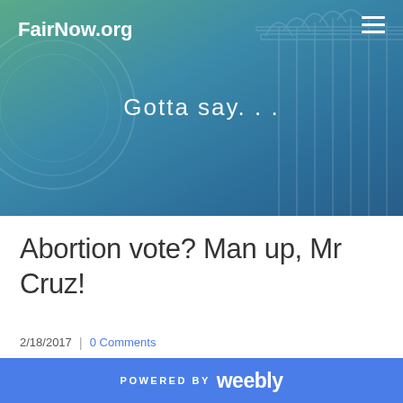FairNow.org
[Figure (illustration): Website banner with gradient background from green to blue, showing decorative engraving of a building/coin in the background, with italic tagline text 'Gotta say...' centered in white]
Abortion vote? Man up, Mr Cruz!
2/18/2017  |  0 Comments
POWERED BY weebly